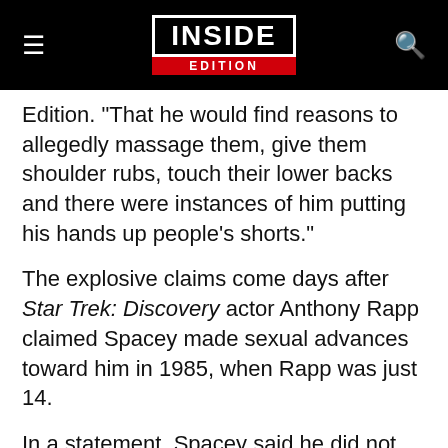INSIDE EDITION
Edition. "That he would find reasons to allegedly massage them, give them shoulder rubs, touch their lower backs and there were instances of him putting his hands up people's shorts."
The explosive claims come days after Star Trek: Discovery actor Anthony Rapp claimed Spacey made sexual advances toward him in 1985, when Rapp was just 14.
In a statement, Spacey said he did not remember the alleged encounter.
"But if I did behave then as he describes, I owe him the sincerest apology for what would have been deeply inappropriate drunken behavior,